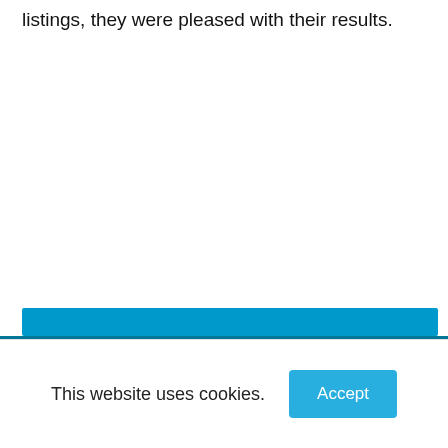listings, they were pleased with their results.
[Figure (other): Blue horizontal bar / banner element near bottom of page]
This website uses cookies.
Accept